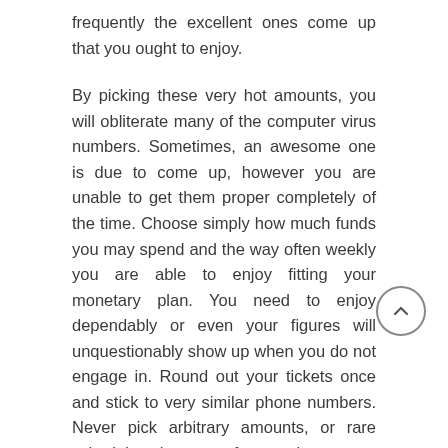frequently the excellent ones come up that you ought to enjoy.
By picking these very hot amounts, you will obliterate many of the computer virus numbers. Sometimes, an awesome one is due to come up, however you are unable to get them proper completely of the time. Choose simply how much funds you may spend and the way often weekly you are able to enjoy fitting your monetary plan. You need to enjoy dependably or even your figures will unquestionably show up when you do not engage in. Round out your tickets once and stick to very similar phone numbers. Never pick arbitrary amounts, or rare schedules, by way of example, events, birthday celebrations, wedding parties or commemorations. W the position once you discover how to choose winning lottery numbers and set up the framework cautiously, you